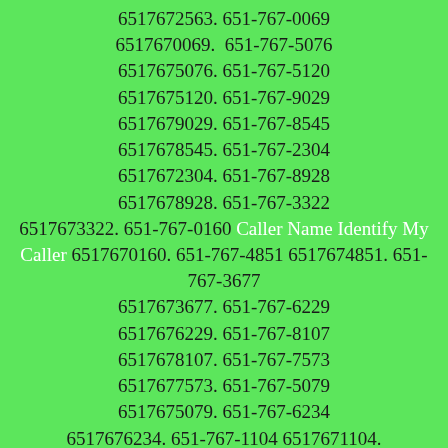6517672563. 651-767-0069 6517670069. 651-767-5076 6517675076. 651-767-5120 6517675120. 651-767-9029 6517679029. 651-767-8545 6517678545. 651-767-2304 6517672304. 651-767-8928 6517678928. 651-767-3322 6517673322. 651-767-0160 Caller Name Identify My Caller 6517670160. 651-767-4851 6517674851. 651-767-3677 6517673677. 651-767-6229 6517676229. 651-767-8107 6517678107. 651-767-7573 6517677573. 651-767-5079 6517675079. 651-767-6234 6517676234. 651-767-1104 6517671104. 651-767-9871 6517679871. 651-767-3616 6517673616. 651-767-5754 6517675754. 651-767-6248 6517676248. 651-767-6150 6517676150. 651-767-7930 6517677930. 651-767-2084 6517672084. 651-767-7372 6517677372. 651-767-3032